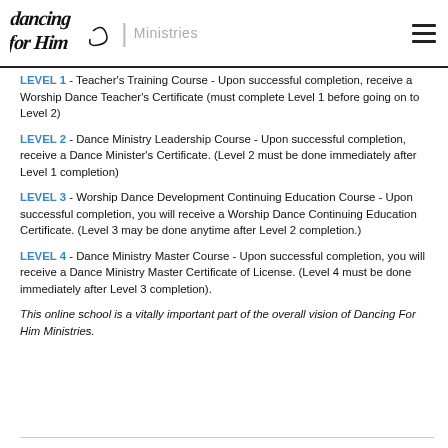dancing for him | Ministries
LEVEL 1 - Teacher's Training Course - Upon successful completion, receive a Worship Dance Teacher's Certificate (must complete Level 1 before going on to Level 2)
LEVEL 2 - Dance Ministry Leadership Course - Upon successful completion, receive a Dance Minister's Certificate. (Level 2 must be done immediately after Level 1 completion)
LEVEL 3 - Worship Dance Development Continuing Education Course - Upon successful completion, you will receive a Worship Dance Continuing Education Certificate. (Level 3 may be done anytime after Level 2 completion.)
LEVEL 4 - Dance Ministry Master Course - Upon successful completion, you will receive a Dance Ministry Master Certificate of License. (Level 4 must be done immediately after Level 3 completion).
This online school is a vitally important part of the overall vision of Dancing For Him Ministries.